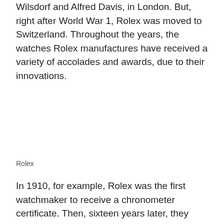Wilsdorf and Alfred Davis, in London. But, right after World War 1, Rolex was moved to Switzerland. Throughout the years, the watches Rolex manufactures have received a variety of accolades and awards, due to their innovations.
Rolex
In 1910, for example, Rolex was the first watchmaker to receive a chronometer certificate. Then, sixteen years later, they invented one of the